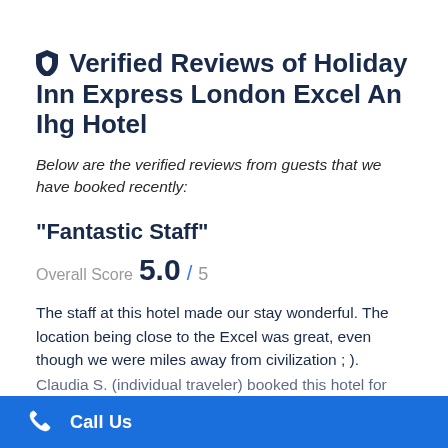Verified Reviews of Holiday Inn Express London Excel An Ihg Hotel
Below are the verified reviews from guests that we have booked recently:
"Fantastic Staff"
Overall Score 5.0 / 5
The staff at this hotel made our stay wonderful. The location being close to the Excel was great, even though we were miles away from civilization ; ).
Call Us